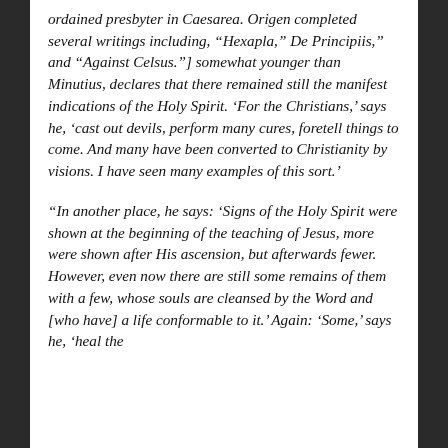ordained presbyter in Caesarea. Origen completed several writings including, “Hexapla,” De Principiis,” and “Against Celsus.”] somewhat younger than Minutius, declares that there remained still the manifest indications of the Holy Spirit. ‘For the Christians,’ says he, ‘cast out devils, perform many cures, foretell things to come. And many have been converted to Christianity by visions. I have seen many examples of this sort.’
“In another place, he says: ‘Signs of the Holy Spirit were shown at the beginning of the teaching of Jesus, more were shown after His ascension, but afterwards fewer. However, even now there are still some remains of them with a few, whose souls are cleansed by the Word and [who have] a life conformable to it.’ Again: ‘Some,’ says he, ‘heal the